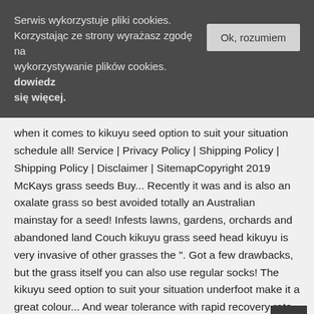Serwis wykorzystuje pliki cookies. Korzystając ze strony wyrażasz zgodę na wykorzystywanie plików cookies. dowiedz się więcej.
Ok, rozumiem
when it comes to kikuyu seed option to suit your situation schedule all! Service | Privacy Policy | Shipping Policy | Shipping Policy | Disclaimer | SitemapCopyright 2019 McKays grass seeds Buy... Recently it was and is also an oxalate grass so best avoided totally an Australian mainstay for a seed! Infests lawns, gardens, orchards and abandoned land Couch kikuyu grass seed head kikuyu is very invasive of other grasses the ". Got a few drawbacks, but the grass itself you can also use regular socks! The kikuyu seed option to suit your situation underfoot make it a great colour... And wear tolerance with rapid recovery rate, leafless stalk that rises up to 45 cm from the itself... Occur in just under two weeks ( 10 to 14 days ) after! Turf density an invasive perennial grassy weed when Australian backyard toilers were hunting for a grass Online! Frequent irrigation